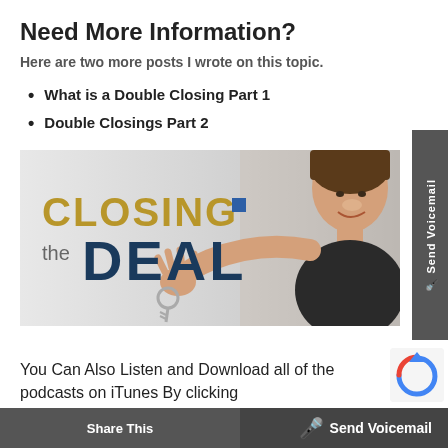Need More Information?
Here are two more posts I wrote on this topic.
What is a Double Closing Part 1
Double Closings Part 2
[Figure (photo): Banner image showing a smiling woman holding keys with text 'CLOSING the DEAL' in gold and dark teal colors with a small blue square logo element.]
You Can Also Listen and Download all of the podcasts on iTunes By clicking